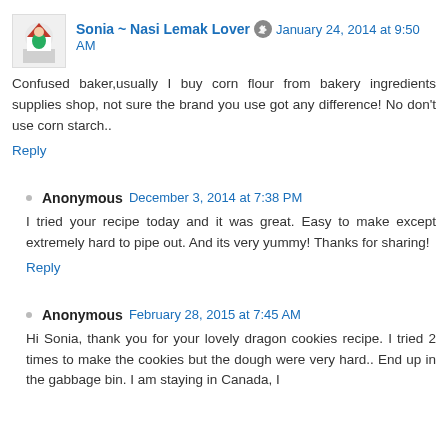Sonia ~ Nasi Lemak Lover  January 24, 2014 at 9:50 AM
Confused baker,usually I buy corn flour from bakery ingredients supplies shop, not sure the brand you use got any difference! No don't use corn starch..
Reply
Anonymous  December 3, 2014 at 7:38 PM
I tried your recipe today and it was great. Easy to make except extremely hard to pipe out. And its very yummy! Thanks for sharing!
Reply
Anonymous  February 28, 2015 at 7:45 AM
Hi Sonia, thank you for your lovely dragon cookies recipe. I tried 2 times to make the cookies but the dough were very hard.. End up in the gabbage bin. I am staying in Canada, I